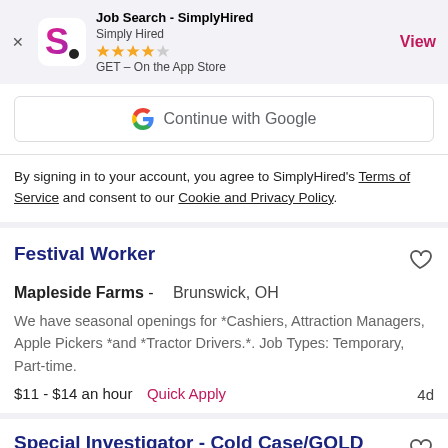[Figure (screenshot): App banner for Job Search - SimplyHired app. Shows SimplyHired logo (pink/red S letter), app name, 4-star rating, GET on the App Store, and a pink View button.]
[Figure (screenshot): Continue with Google button with Google G logo]
By signing in to your account, you agree to SimplyHired's Terms of Service and consent to our Cookie and Privacy Policy.
Festival Worker
Mapleside Farms -   Brunswick, OH
We have seasonal openings for *Cashiers, Attraction Managers, Apple Pickers *and *Tractor Drivers.*. Job Types: Temporary, Part-time.
$11 - $14 an hour   Quick Apply   4d
Special Investigator - Cold Case/GOLD Unit
Cuyahoga County Prosecutor's Office -   Cleveland,